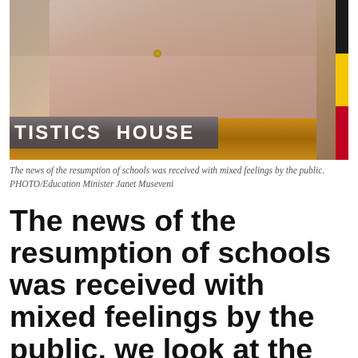[Figure (photo): A woman in a pink/mauve tweed jacket stands at a podium. A sign reading 'TISTICS HOUSE' (partial, full text 'STATISTICS HOUSE') is visible on the front of the podium. A Ugandan flag stripe is visible on the right edge.]
The news of the resumption of schools was received with mixed feelings by the public. PHOTO/Education Minister Janet Museveni
The news of the resumption of schools was received with mixed feelings by the public, we look at the different challenges that face the reopening of schools in Uganda